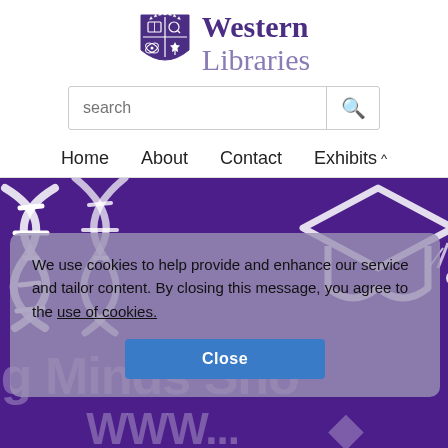[Figure (logo): Western Libraries logo with purple shield crest and text 'Western Libraries']
search
Home   About   Contact   Exhibits ^
[Figure (screenshot): Purple hero banner with white DNA helix illustration on left and graduation cap on right, with large white text 'ng Minds Sho' partially visible]
We use cookies to help provide and enhance our service and tailor content. By closing this message, you agree to the use of cookies.
Close